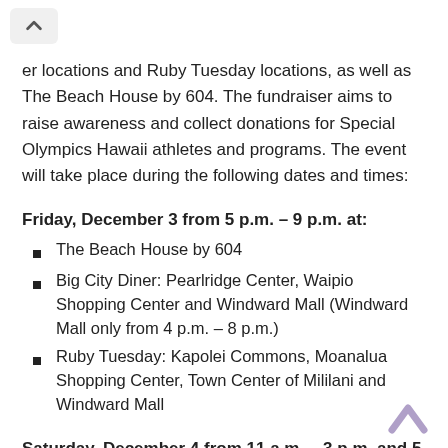er locations and Ruby Tuesday locations, as well as The Beach House by 604. The fundraiser aims to raise awareness and collect donations for Special Olympics Hawaii athletes and programs. The event will take place during the following dates and times:
Friday, December 3 from 5 p.m. – 9 p.m. at:
The Beach House by 604
Big City Diner: Pearlridge Center, Waipio Shopping Center and Windward Mall (Windward Mall only from 4 p.m. – 8 p.m.)
Ruby Tuesday: Kapolei Commons, Moanalua Shopping Center, Town Center of Mililani and Windward Mall
Saturday, December 4 from 11 a.m. – 3 p.m. and 5 p.m. – 9 p.m. at:
The Beach House by 604